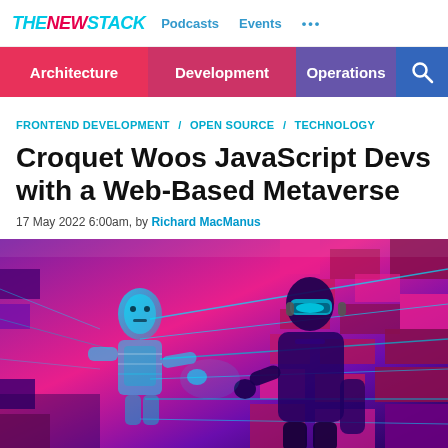THE NEW STACK  Podcasts  Events  ...
Architecture / Development / Operations
FRONTEND DEVELOPMENT / OPEN SOURCE / TECHNOLOGY
Croquet Woos JavaScript Devs with a Web-Based Metaverse
17 May 2022 6:00am, by Richard MacManus
[Figure (photo): A person wearing a VR headset reaches out to shake hands with a glowing cyan holographic robot figure in a vibrant purple and magenta digital environment with neon light rays.]